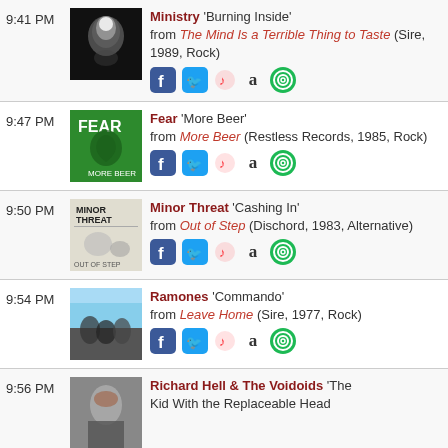9:41 PM — Ministry 'Burning Inside' from The Mind Is a Terrible Thing to Taste (Sire, 1989, Rock)
9:47 PM — Fear 'More Beer' from More Beer (Restless Records, 1985, Rock)
9:50 PM — Minor Threat 'Cashing In' from Out of Step (Dischord, 1983, Alternative)
9:54 PM — Ramones 'Commando' from Leave Home (Sire, 1977, Rock)
9:56 PM — Richard Hell & The Voidoids 'The Kid With the Replaceable Head'